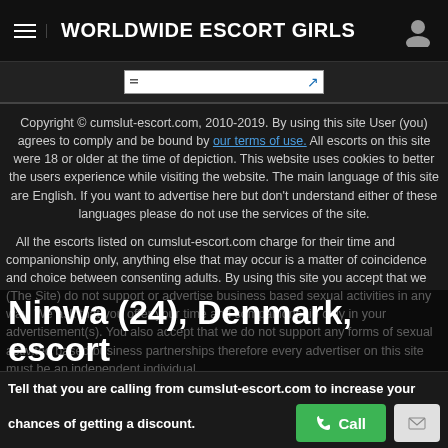WORLDWIDE ESCORT GIRLS
[Figure (screenshot): Search input box with blue arrow icon]
Copyright © cumslut-escort.com, 2010-2019. By using this site User (you) agrees to comply and be bound by our terms of use. All escorts on this site were 18 or older at the time of depiction. This website uses cookies to better the users experience while visiting the website. The main language of this site are English. If you want to advertise here but don't understand either of these languages please do not use the services of the site.
All the escorts listed on cumslut-escort.com charge for their time and companionship only, anything else that may occur is a matter of coincidence and choice between consenting adults. By using this site you accept that we (The Site) do not support or advertise business based sexual activities in any way. We ask that you offer your time and companionship only in your advertisement(s). You also accept that we do not support any forms of sexual activited based business partnerships therefore every advertiser on this site must be an independent individual.
Ninwa (24), Denmark, escort sexgirl
Tell that you are calling from cumslut-escort.com to increase your chances of getting a discount.